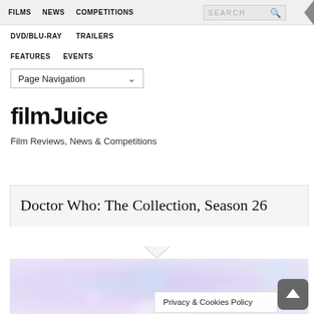FILMS   NEWS   COMPETITIONS   SEARCH
DVD/BLU-RAY   TRAILERS
FEATURES   EVENTS
Page Navigation
filmJuice
Film Reviews, News & Competitions
Doctor Who: The Collection, Season 26
[Figure (photo): Blurred bokeh photo with pink/blue/purple tones, partially visible hand or glowing object]
Privacy & Cookies Policy